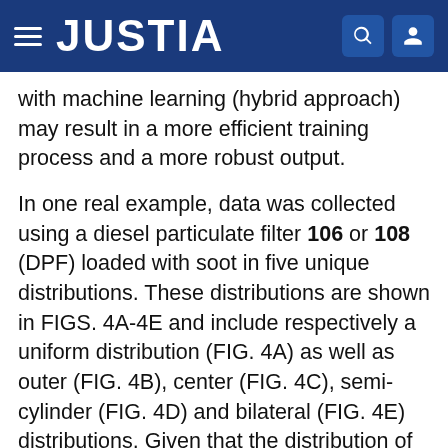JUSTIA
with machine learning (hybrid approach) may result in a more efficient training process and a more robust output.
In one real example, data was collected using a diesel particulate filter 106 or 108 (DPF) loaded with soot in five unique distributions. These distributions are shown in FIGS. 4A-4E and include respectively a uniform distribution (FIG. 4A) as well as outer (FIG. 4B), center (FIG. 4C), semi-cylinder (FIG. 4D) and bilateral (FIG. 4E) distributions. Given that the distribution of each measurement is known in advance (reference states), the measurement set is separated into training and testing data. These subsets are kept mutually exclusive and the separation is performed randomly. The testing data, along with the assigned category, is used to train the neural network, and the testing data is used to